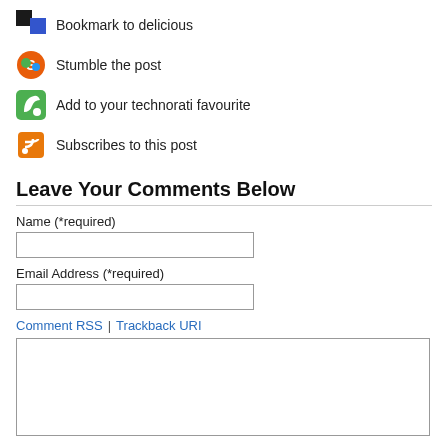Bookmark to delicious
Stumble the post
Add to your technorati favourite
Subscribes to this post
Leave Your Comments Below
Name (*required)
Email Address (*required)
Comment RSS  |  Trackback URI